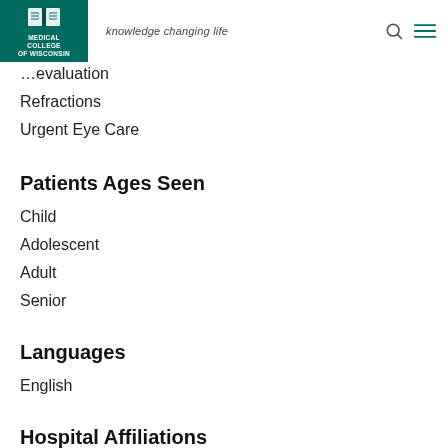Medical College of Wisconsin — knowledge changing life
Evaluation
Refractions
Urgent Eye Care
Patients Ages Seen
Child
Adolescent
Adult
Senior
Languages
English
Hospital Affiliations